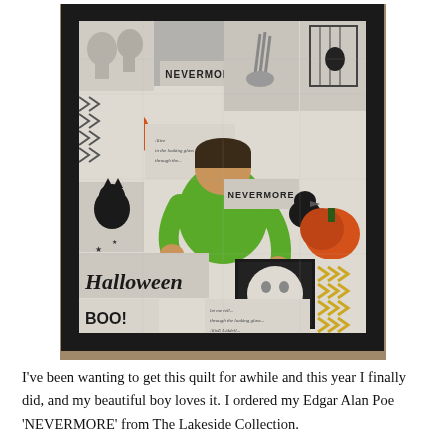[Figure (photo): A child in a green sweater leaning over a large Halloween-themed quilt laid on a carpeted floor. The quilt features black and white patchwork panels with Halloween imagery including ravens, skulls, pumpkins, text reading 'NEVERMORE', 'Halloween', 'BOO!', and other spooky motifs. The quilt has a dark border.]
I've been wanting to get this quilt for awhile and this year I finally did, and my beautiful boy loves it. I ordered my Edgar Alan Poe 'NEVERMORE' from The Lakeside Collection.